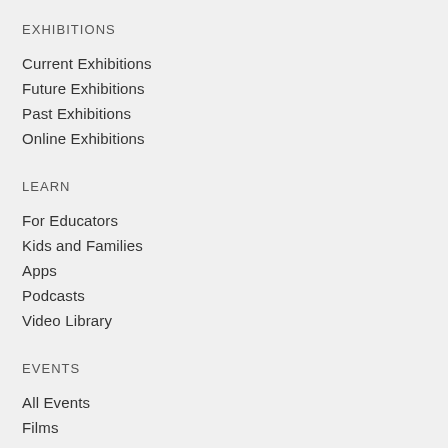EXHIBITIONS
Current Exhibitions
Future Exhibitions
Past Exhibitions
Online Exhibitions
LEARN
For Educators
Kids and Families
Apps
Podcasts
Video Library
EVENTS
All Events
Films